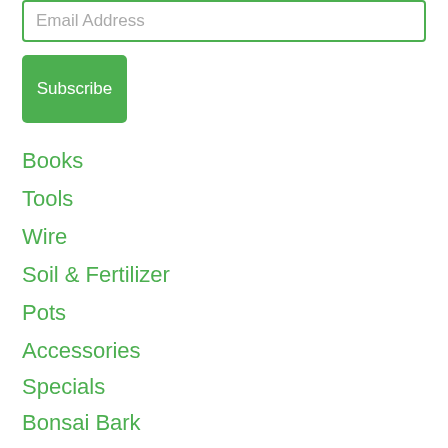Email Address
Subscribe
Books
Tools
Wire
Soil & Fertilizer
Pots
Accessories
Specials
Bonsai Bark
Home
About Us
Shipping Rates